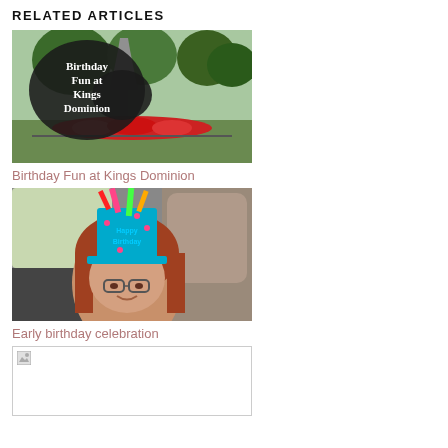RELATED ARTICLES
[Figure (photo): Birthday Fun at Kings Dominion – outdoor theme park with Eiffel Tower replica, flower beds, trees. Black speech-bubble overlay with white text 'Birthday Fun at Kings Dominion'.]
Birthday Fun at Kings Dominion
[Figure (photo): Woman wearing a colorful Happy Birthday hat sitting in a car, with passenger seat headrest visible.]
Early birthday celebration
[Figure (photo): Partially loaded/broken image placeholder (small image icon in top-left corner, rest white).]